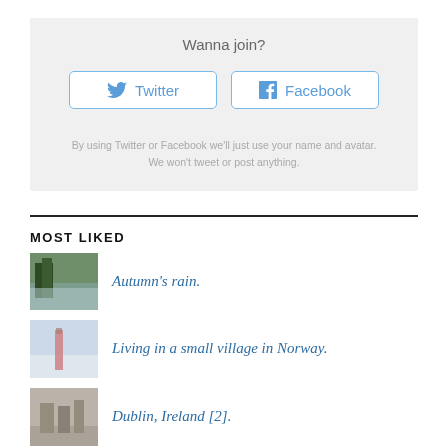Wanna join?
[Figure (infographic): Social login buttons for Twitter and Facebook with rounded rectangle borders]
By using Twitter or Facebook we'll just use your name and avatar. We won't tweet or post anything.
MOST LIKED
[Figure (photo): Autumn rainy landscape thumbnail]
Autumn's rain.
[Figure (photo): Snowy village in Norway thumbnail]
Living in a small village in Norway.
[Figure (photo): Dublin Ireland street thumbnail]
Dublin, Ireland [2].